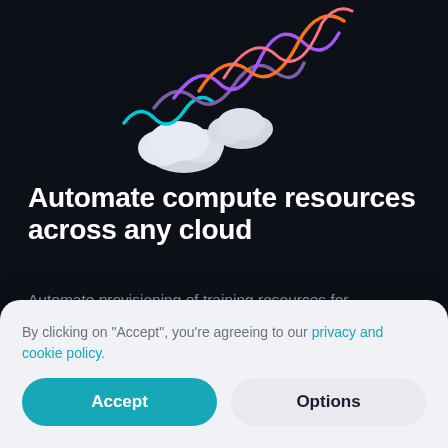[Figure (illustration): 3D illustration of colorful wavy lines (purple, pink, coral, teal) with white cloud shapes, representing multi-cloud computing]
Automate compute resources across any cloud
Automate provisioning of training resources for experiments Train models using any cloud or on-premises infrastructure with a single click Generate training reports automatically, stored as Git pull requests
By clicking on "Accept", you're agreeing to our privacy and cookie policy.
Accept
Options